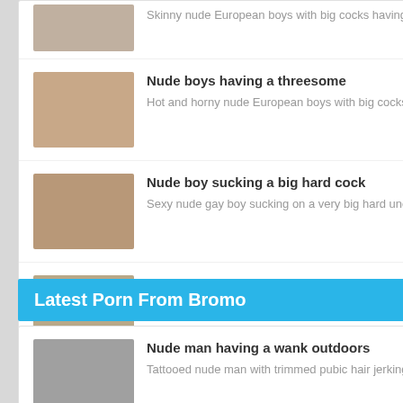Skinny nude European boys with big cocks having bareback sex
Nude boys having a threesome — Hot and horny nude European boys with big cocks having a threesome
Nude boy sucking a big hard cock — Sexy nude gay boy sucking on a very big hard uncut cock
European boys having some fun — Two gorgeous nude European gay boys from Staxus having bareback sex
Latest Porn From Bromo
Nude man having a wank outdoors — Tattooed nude man with trimmed pubic hair jerking off his cock, outdoors